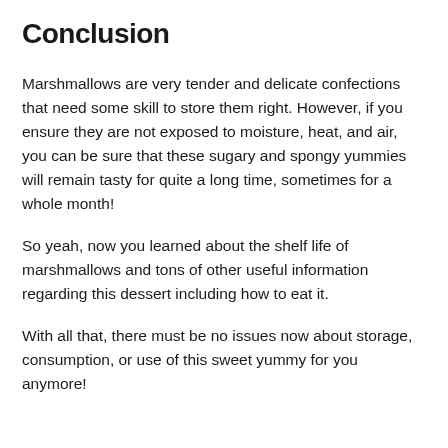Conclusion
Marshmallows are very tender and delicate confections that need some skill to store them right. However, if you ensure they are not exposed to moisture, heat, and air, you can be sure that these sugary and spongy yummies will remain tasty for quite a long time, sometimes for a whole month!
So yeah, now you learned about the shelf life of marshmallows and tons of other useful information regarding this dessert including how to eat it.
With all that, there must be no issues now about storage, consumption, or use of this sweet yummy for you anymore!